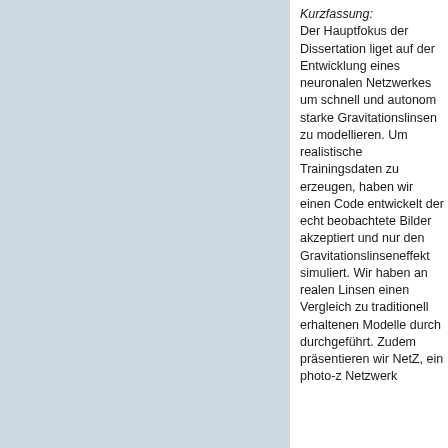[Figure (other): Light blue/grey rectangular image placeholder occupying the left two-thirds of the page]
Kurzfassung: Der Hauptfokus der Dissertation liget auf der Entwicklung eines neuronalen Netzwerkes um schnell und autonom starke Gravitationslinsen zu modellieren. Um realistische Trainingsdaten zu erzeugen, haben wir einen Code entwickelt der echt beobachtete Bilder akzeptiert und nur den Gravitationslinseneffekt simuliert. Wir haben an realen Linsen einen Vergleich zu traditionell erhaltenen Modelle durch durchgeführt. Zudem präsentieren wir NetZ, ein photo-z Netzwerk